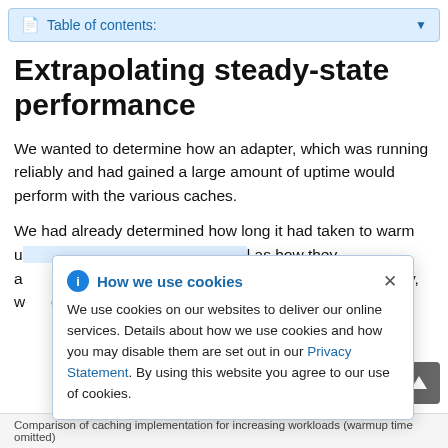Table of contents:
Extrapolating steady-state performance
We wanted to determine how an adapter, which was running reliably and had gained a large amount of uptime would perform with the various caches.
We had already determined how long it had taken to warm up the caches from a clean slate, as well as how they affected and performed under a full load. Finally, we wanted to see if the numbers obtained against each individual cache could be used to obtain (normalized) per-request cache averages generated from a large sample of requests gathered. The results were then…
How we use cookies
We use cookies on our websites to deliver our online services. Details about how we use cookies and how you may disable them are set out in our Privacy Statement. By using this website you agree to our use of cookies.
Comparison of caching implementation for increasing workloads (warmup time omitted)